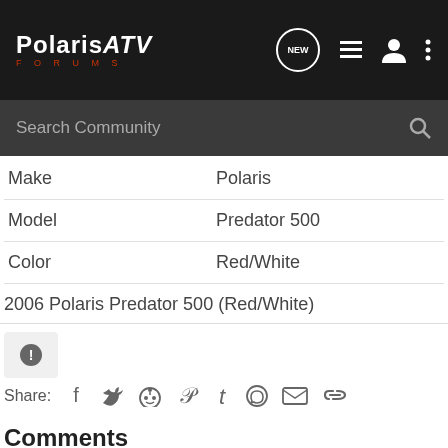PolarisATV FORUMS
| Make | Polaris |
| Model | Predator 500 |
| Color | Red/White |
2006 Polaris Predator 500 (Red/White)
Share:
Comments
There are no comments to display.